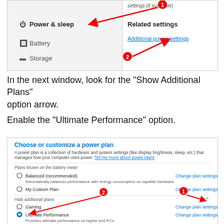[Figure (screenshot): Windows Settings screenshot showing Power & sleep, Battery, Storage menu items on left panel and Related settings with Additional power settings link on right. Two red numbered arrows (1 and 2) annotate the screenshot.]
In the next window, look for the “Show Additional Plans” option arrow.
Enable the “Ultimate Performance” option.
[Figure (screenshot): Windows Power Plan dialog showing Choose or customize a power plan. Plans shown: Balanced (recommended), My Custom Plan, Hide additional plans section with Gaming and Ultimate Performance (selected). Two red numbered arrows (1 and 2) annotate the screenshot. Change plan settings links on the right.]